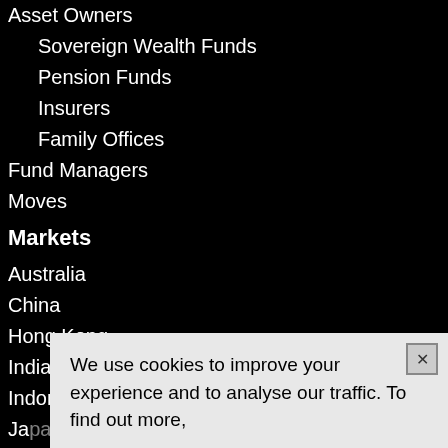Asset Owners
Sovereign Wealth Funds
Pension Funds
Insurers
Family Offices
Fund Managers
Moves
Markets
Australia
China
Hong Kong
India
Indonesia
Japan
K
M
P
We use cookies to improve your experience and to analyse our traffic. To find out more,